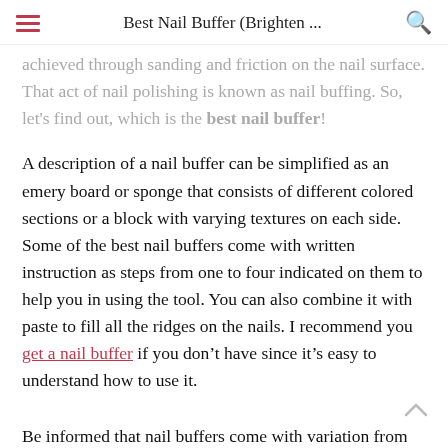Best Nail Buffer (Brighten ...
achieved through sanding and friction on the nail surface. That act of nail polishing is known as nail buffing. So, let's find out, which is the best nail buffer!
A description of a nail buffer can be simplified as an emery board or sponge that consists of different colored sections or a block with varying textures on each side. Some of the best nail buffers come with written instruction as steps from one to four indicated on them to help you in using the tool. You can also combine it with paste to fill all the ridges on the nails. I recommend you get a nail buffer if you don't have since it's easy to understand how to use it.
Be informed that nail buffers come with variation from